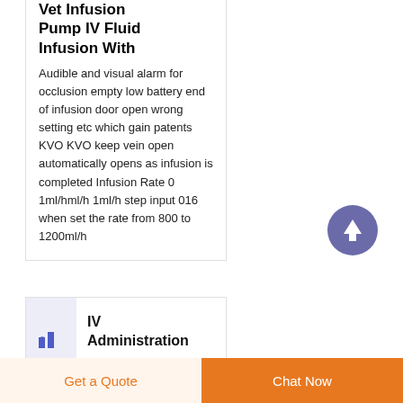Vet Infusion Pump IV Fluid Infusion With
Audible and visual alarm for occlusion empty low battery end of infusion door open wrong setting etc which gain patents KVO KVO keep vein open automatically opens as infusion is completed Infusion Rate 0 1ml/hml/h 1ml/h step input 016 when set the rate from 800 to 1200ml/h
[Figure (illustration): Circular purple/indigo scroll-to-top button with upward arrow icon]
[Figure (illustration): Small product thumbnail with blue bar chart icon on lavender background]
IV Administration
Get a Quote
Chat Now